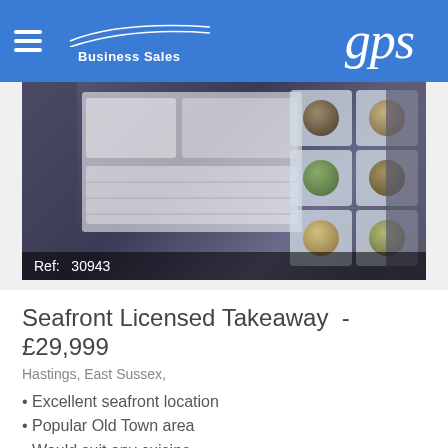GPS Business Sales
[Figure (photo): Photo of a takeaway restaurant's menu display board showing food images and menu panels]
Ref: 30943
Seafront Licensed Takeaway  -  £29,999
Hastings, East Sussex,
Excellent seafront location
Popular Old Town area
Would suit any cuisine
Fully equipped
The business is located on the seafront in the popular